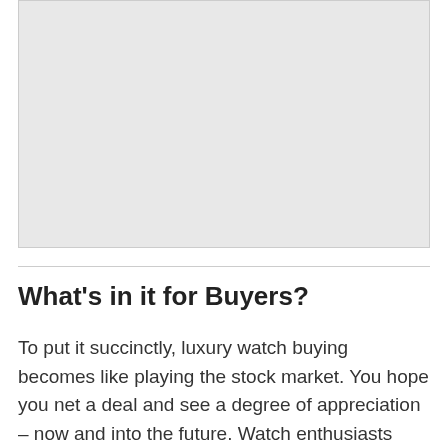[Figure (photo): Placeholder image area (gray rectangle)]
What's in it for Buyers?
To put it succinctly, luxury watch buying becomes like playing the stock market. You hope you net a deal and see a degree of appreciation – now and into the future. Watch enthusiasts routinely check values for classic timepieces and likely